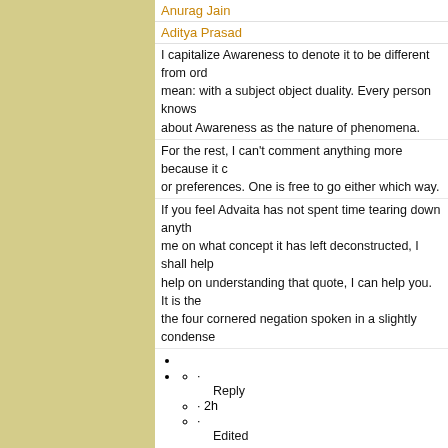Anurag Jain
Aditya Prasad
I capitalize Awareness to denote it to be different from ordinary awareness I mean: with a subject object duality. Every person knows about Awareness as the nature of phenomena.
For the rest, I can't comment anything more because it comes down to tastes or preferences. One is free to go either which way.
If you feel Advaita has not spent time tearing down anything, show me on what concept it has left deconstructed, I shall help you... If you need help on understanding that quote, I can help you. It is the four cornered negation spoken in a slightly condensed
·
· Reply · 2h · Edited
·
Anurag Jain
Aditya Prasad
I guess you have to read more carefully. I have never "established" Brahman anywhere. The tetralemma is precisely meant to obviate in understanding it I shall repeat it again in a more detailed